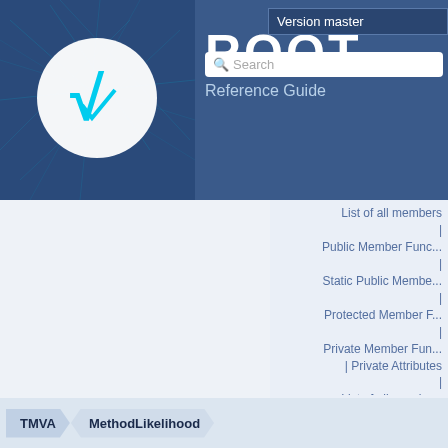ROOT Reference Guide — Version master
List of all members
Public Member Functions
Static Public Member
Protected Member Functions
Private Member Functions | Private Attributes
List of all members
TMVA::MethodLikelihood Class
TMVA | MethodLikelihood